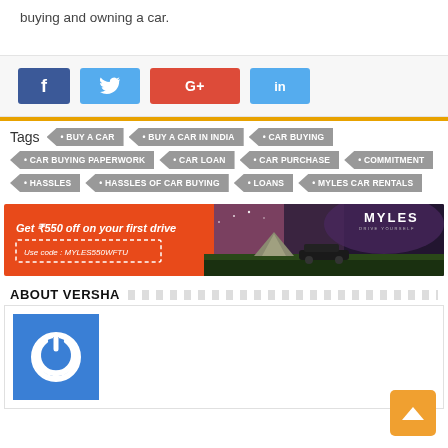buying and owning a car.
[Figure (infographic): Social share buttons: Facebook (blue), Twitter (light blue), Google+ (red), LinkedIn (light blue)]
Tags: BUY A CAR · BUY A CAR IN INDIA · CAR BUYING · CAR BUYING PAPERWORK · CAR LOAN · CAR PURCHASE · COMMITMENT · HASSLES · HASSLES OF CAR BUYING · LOANS · MYLES CAR RENTALS
[Figure (infographic): Myles car rental advertisement banner: Get ₹550 off on your first drive. Use code: MYLES550WFTU. Shows tent and car at sunset.]
ABOUT VERSHA
[Figure (logo): Blue square avatar with white circular power/user icon]